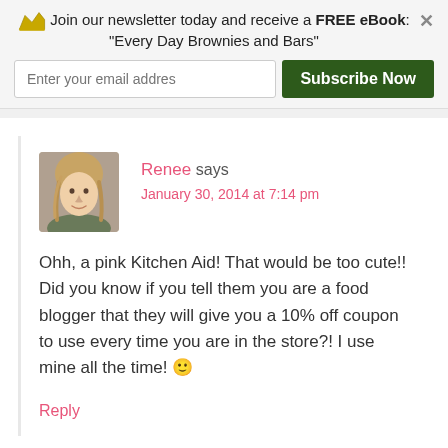Join our newsletter today and receive a FREE eBook: "Every Day Brownies and Bars"
Renee says
January 30, 2014 at 7:14 pm
Ohh, a pink Kitchen Aid! That would be too cute!! Did you know if you tell them you are a food blogger that they will give you a 10% off coupon to use every time you are in the store?! I use mine all the time! 🙂
Reply